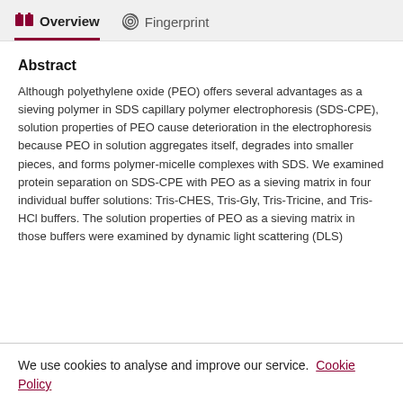Overview   Fingerprint
Abstract
Although polyethylene oxide (PEO) offers several advantages as a sieving polymer in SDS capillary polymer electrophoresis (SDS-CPE), solution properties of PEO cause deterioration in the electrophoresis because PEO in solution aggregates itself, degrades into smaller pieces, and forms polymer-micelle complexes with SDS. We examined protein separation on SDS-CPE with PEO as a sieving matrix in four individual buffer solutions: Tris-CHES, Tris-Gly, Tris-Tricine, and Tris-HCl buffers. The solution properties of PEO as a sieving matrix in those buffers were examined by dynamic light scattering (DLS)
We use cookies to analyse and improve our service. Cookie Policy